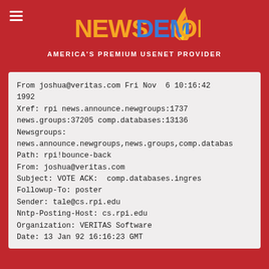NEWSDEMON
AMERICA'S PREMIUM USENET PROVIDER
From joshua@veritas.com Fri Nov  6 10:16:42 1992
Xref: rpi news.announce.newgroups:1737
news.groups:37205 comp.databases:13136
Newsgroups:
news.announce.newgroups,news.groups,comp.databas
Path: rpi!bounce-back
From: joshua@veritas.com
Subject: VOTE ACK:  comp.databases.ingres
Followup-To: poster
Sender: tale@cs.rpi.edu
Nntp-Posting-Host: cs.rpi.edu
Organization: VERITAS Software
Date: 13 Jan 92 16:16:23 GMT